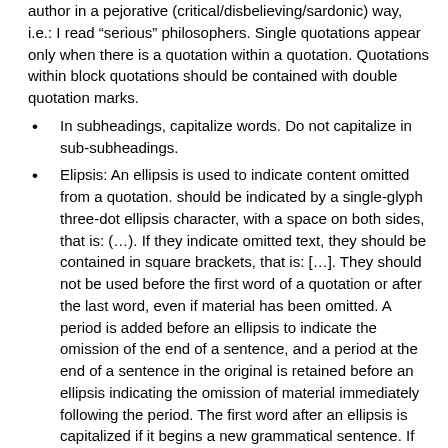author in a pejorative (critical/disbelieving/sardonic) way, i.e.: I read “serious” philosophers. Single quotations appear only when there is a quotation within a quotation. Quotations within block quotations should be contained with double quotation marks.
In subheadings, capitalize words. Do not capitalize in sub-subheadings.
Elipsis: An ellipsis is used to indicate content omitted from a quotation. should be indicated by a single-glyph three-dot ellipsis character, with a space on both sides, that is: (…). If they indicate omitted text, they should be contained in square brackets, that is: […]. They should not be used before the first word of a quotation or after the last word, even if material has been omitted. A period is added before an ellipsis to indicate the omission of the end of a sentence, and a period at the end of a sentence in the original is retained before an ellipsis indicating the omission of material immediately following the period. The first word after an ellipsis is capitalized if it begins a new grammatical sentence. If full paragraphs are omitted, or the omitted material leads into a new paragraph, ellipsis points at the end of the paragraph preceding the omitted part should be